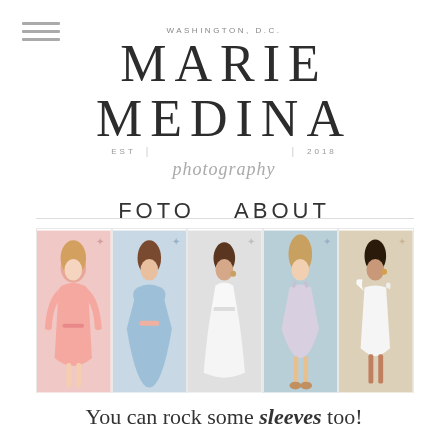WASHINGTON, D.C. | MARIE MEDINA | photography | EST | 2018
FOTO  ABOUT
[Figure (photo): A horizontal strip of five fashion photos showing women in dresses: pink long-sleeve wrap dress, light blue skater dress, white halter dress, grey skater dress, white ruffle-shoulder dress.]
You can rock some sleeves too!